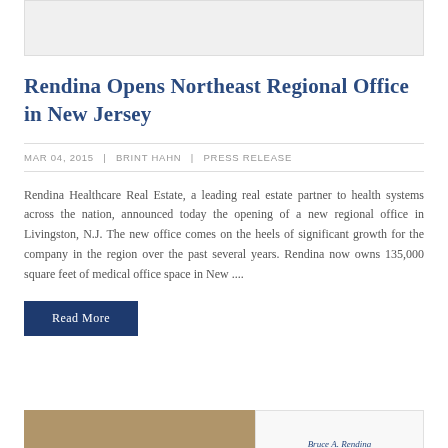[Figure (photo): Placeholder image at top of page, light gray rectangle]
Rendina Opens Northeast Regional Office in New Jersey
MAR 04, 2015 | BRINT HAHN | PRESS RELEASE
Rendina Healthcare Real Estate, a leading real estate partner to health systems across the nation, announced today the opening of a new regional office in Livingston, N.J. The new office comes on the heels of significant growth for the company in the region over the past several years. Rendina now owns 135,000 square feet of medical office space in New ....
Read More
[Figure (photo): Bottom partial image showing a photo on the left and text on the right reading Bruce A. Rendina]